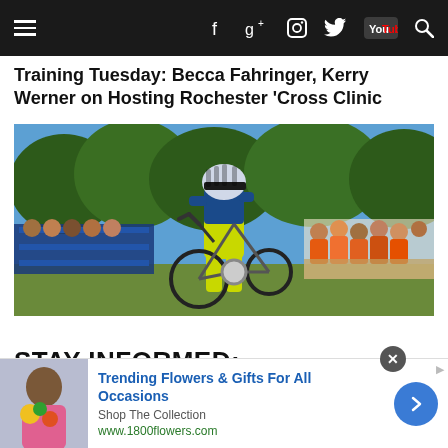Navigation bar with hamburger menu, Facebook, Google+, Instagram, Twitter, YouTube, and search icons
Training Tuesday: Becca Fahringer, Kerry Werner on Hosting Rochester 'Cross Clinic
[Figure (photo): A cyclist in yellow and blue kit carrying a bicycle, running through a cyclocross course with spectators and barrier fencing in the background, in an outdoor wooded setting]
STAY INFORMED:
[Figure (infographic): Advertisement banner: Trending Flowers & Gifts For All Occasions - Shop The Collection - www.1800flowers.com, with a photo of a woman holding flowers, a blue circular arrow button, and a close (X) button]